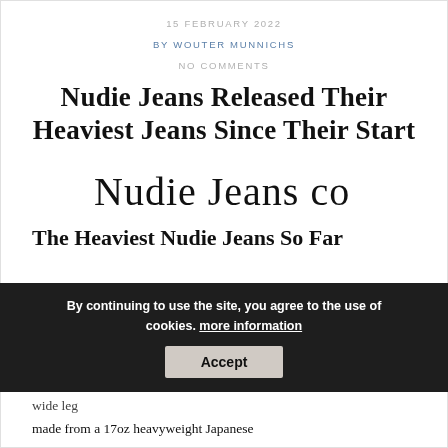15 FEBRUARY 2022
BY WOUTER MUNNICHS
NO COMMENTS
Nudie Jeans Released Their Heaviest Jeans Since Their Start
[Figure (logo): Nudie Jeans co handwritten logo]
The Heaviest Nudie Jeans So Far
Nudie jeans created one of their heaviest jeans so far in their collection. This time they used their Tuff Tony, loose-fit jeans with a wide leg
By continuing to use the site, you agree to the use of cookies. more information
made from a 17oz heavyweight Japanese